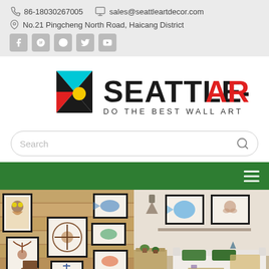86-18030267005   sales@seattleartdecor.com
No.21 Pingcheng North Road, Haicang District
[Figure (logo): Seattle-Art logo with geometric triangle shapes in cyan, black, red and yellow, text SEATTLE-ART DO THE BEST WALL ART]
Search
[Figure (photo): Two product showcase photos showing framed wall art prints - nautical/animal themed artwork on wood wall background (left) and animal prints in modern living room (right)]